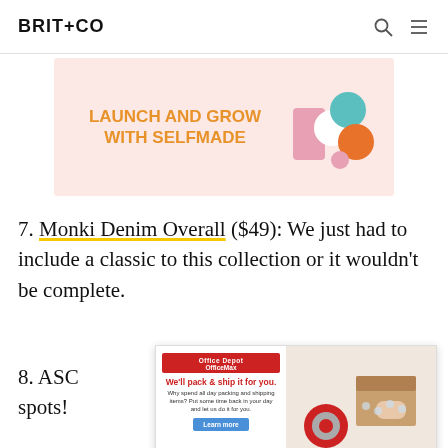BRIT+CO
[Figure (infographic): Pink banner ad for Selfmade with text 'LAUNCH AND GROW WITH SELFMADE' in orange and decorative colorful circles/shapes on the right]
7. Monki Denim Overall ($49): We just had to include a classic to this collection or it wouldn't be complete.
8. ASC... ng spots!... ls, so we lo...
[Figure (infographic): Office Depot OfficeMax popup ad with text 'We'll pack & ship it for you.' alongside a photo of someone packing a box]